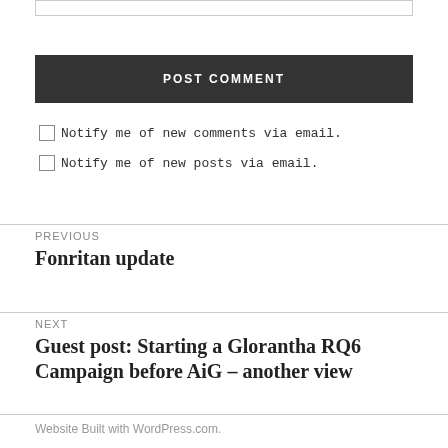POST COMMENT
Notify me of new comments via email.
Notify me of new posts via email.
PREVIOUS
Fonritan update
NEXT
Guest post: Starting a Glorantha RQ6 Campaign before AiG – another view
Website Built with WordPress.com.